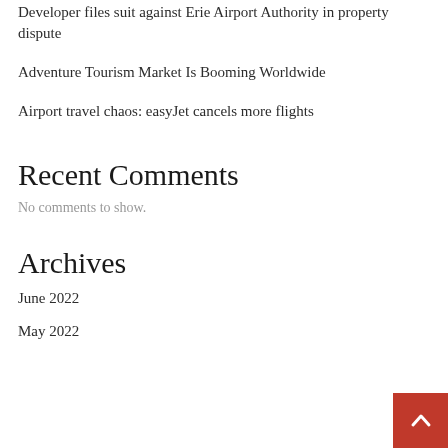Developer files suit against Erie Airport Authority in property dispute
Adventure Tourism Market Is Booming Worldwide
Airport travel chaos: easyJet cancels more flights
Recent Comments
No comments to show.
Archives
June 2022
May 2022